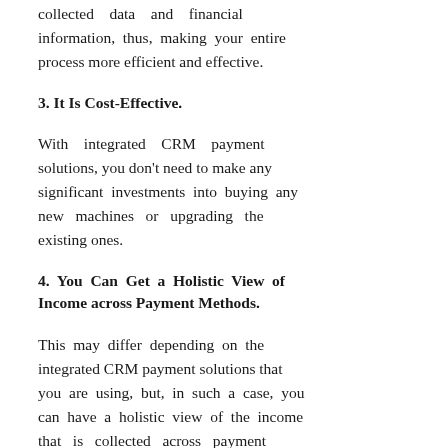collected data and financial information, thus, making your entire process more efficient and effective.
3. It Is Cost-Effective.
With integrated CRM payment solutions, you don't need to make any significant investments into buying any new machines or upgrading the existing ones.
4. You Can Get a Holistic View of Income across Payment Methods.
This may differ depending on the integrated CRM payment solutions that you are using, but, in such a case, you can have a holistic view of the income that is collected across payment methods.